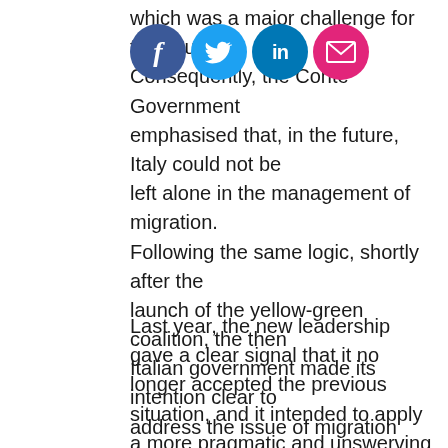which was a major challenge for the country. Consequently, the Conte Government emphasised that, in the future, Italy could not be left alone in the management of migration. Following the same logic, shortly after the launch of the yellow-green coalition, the then Italian government made its intention clear to address the issue of migration through a common, systematic European solution.
[Figure (other): Row of four social media share buttons: Facebook (blue circle with 'f'), Twitter (light blue circle with bird icon), LinkedIn (blue circle with 'in'), Email/share (pink circle with envelope icon)]
Last year, the new leadership gave a clear signal that it no longer accepted the previous situation, and it intended to apply a more pragmatic and unswerving migration policy than before (we analysed the background of this attitude in one of our previous articles). Therefore, one of the key objectives for Matteo Salvini as Minister of the Interior was stricter migration management during his mandate. The announcement of the policy of "closed